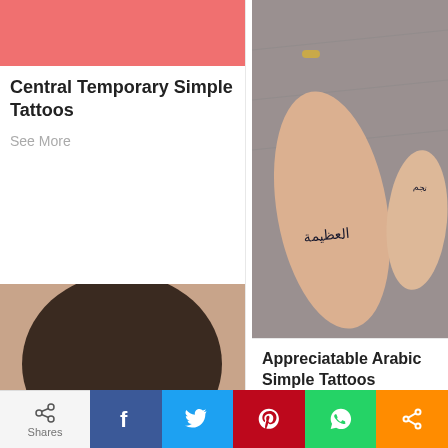[Figure (photo): Pink/salmon colored block (top of card for Central Temporary Simple Tattoos)]
Central Temporary Simple Tattoos
See More
[Figure (photo): Photo of Arabic tattoo (قوة) on back of neck]
Dazzling Arabic Simple Tattoos
See More
[Figure (photo): Photo of Arabic tattoos on hands/wrist and foot on grey fabric]
Appreciatable Arabic Simple Tattoos
See More
[Figure (photo): Partially visible photo at bottom right (cropped)]
0 Shares  f  t  p  [whatsapp]  [share]